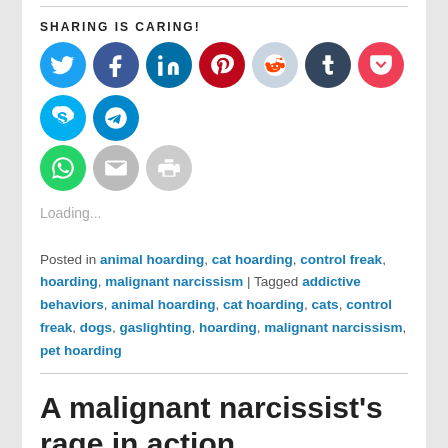[Figure (infographic): Social sharing buttons row: Twitter (blue), Facebook (dark blue), LinkedIn (teal), Pinterest (red), Reddit (light blue), Tumblr (dark navy), Pocket (red), Skype (light blue), Telegram (blue), WhatsApp (green), Email (gray), Print (gray)]
Loading...
Posted in animal hoarding, cat hoarding, control freak, hoarding, malignant narcissism | Tagged addictive behaviors, animal hoarding, cat hoarding, cats, control freak, dogs, gaslighting, hoarding, malignant narcissism, pet hoarding
A malignant narcissist's rage in action.
Posted on September 26, 2015